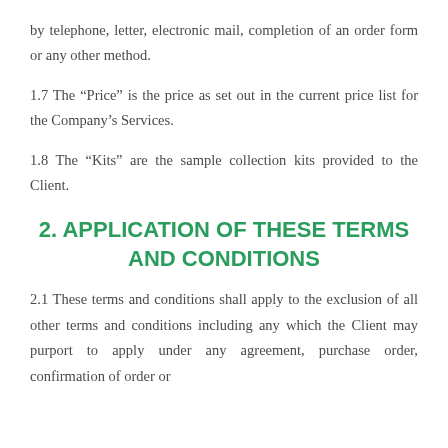by telephone, letter, electronic mail, completion of an order form or any other method.
1.7 The “Price” is the price as set out in the current price list for the Company’s Services.
1.8 The “Kits” are the sample collection kits provided to the Client.
2. APPLICATION OF THESE TERMS AND CONDITIONS
2.1 These terms and conditions shall apply to the exclusion of all other terms and conditions including any which the Client may purport to apply under any agreement, purchase order, confirmation of order or